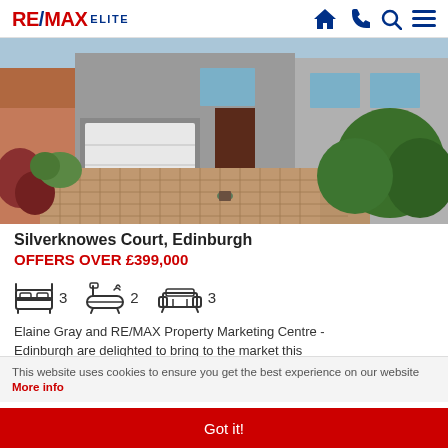RE/MAX ELITE
[Figure (photo): Exterior photo of a detached house with brick and render frontage, white garage door, block-paved driveway, and manicured hedges and garden shrubs]
Silverknowes Court, Edinburgh
OFFERS OVER £399,000
[Figure (infographic): Property feature icons: bed icon with count 3, bath icon with count 2, sofa/reception icon with count 3]
Elaine Gray and RE/MAX Property Marketing Centre - Edinburgh are delighted to bring to the market this
This website uses cookies to ensure you get the best experience on our website More info
Got it!